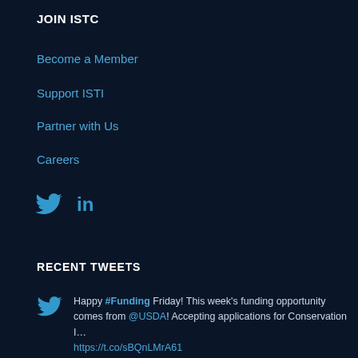JOIN ISTC
Become a Member
Support ISTI
Partner with Us
Careers
[Figure (illustration): Twitter bird icon and LinkedIn 'in' icon in blue, side by side]
RECENT TWEETS
Happy #Funding Friday! This week's funding opportunity comes from @USDA! Accepting applications for Conservation I… https://t.co/sBQnLMrA61 yesterday